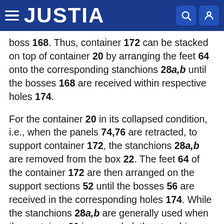JUSTIA
boss 168. Thus, container 172 can be stacked on top of container 20 by arranging the feet 64 onto the corresponding stanchions 28a,b until the bosses 168 are received within respective holes 174.
For the container 20 in its collapsed condition, i.e., when the panels 74,76 are retracted, to support container 172, the stanchions 28a,b are removed from the box 22. The feet 64 of the container 172 are then arranged on the support sections 52 until the bosses 56 are received in the corresponding holes 174. While the stanchions 28a,b are generally used when the container 20 is expanded, the stanchions 28a,b can also be used to support container 172 when the container 20 is collapsed.
The stanchions 28a,b preferably support the container 172 when the container 20 is extended so that the panels 74,76 support, at most, only part of the container